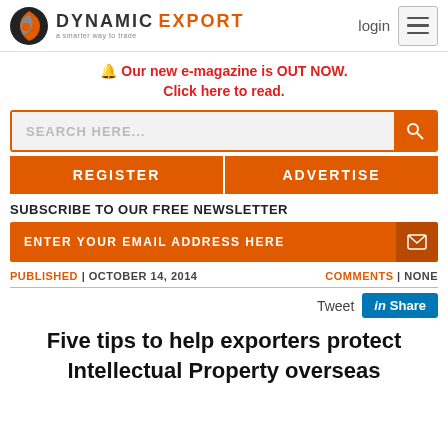[Figure (logo): Dynamic Export logo with orange/grey swirl icon and text 'DYNAMIC EXPORT' with tagline 'a smarter way to trade']
🔔 Our new e-magazine is OUT NOW. Click here to read.
SEARCH HERE...
REGISTER
ADVERTISE
SUBSCRIBE TO OUR FREE NEWSLETTER
ENTER YOUR EMAIL ADDRESS HERE
PUBLISHED | OCTOBER 14, 2014     COMMENTS | NONE
Tweet  Share
Five tips to help exporters protect Intellectual Property overseas